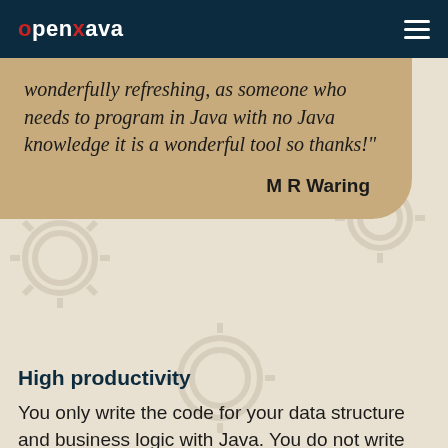openxava
wonderfully refreshing, as someone who needs to program in Java with no Java knowledge it is a wonderful tool so thanks!"

M R Waring
High productivity
You only write the code for your data structure and business logic with Java. You do not write HTML, JavaScript, CSS,